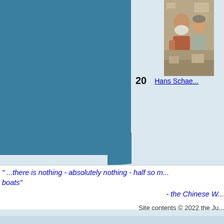[Figure (photo): Photo of two people, one older man with white beard and a woman, in what appears to be an interior setting with items on walls behind them. Located in upper right area of page.]
20   Hans Schae...
" ...there is nothing - absolutely nothing - half so m... boats"
- the Chinese W...
Site contents © 2022 the Ju...